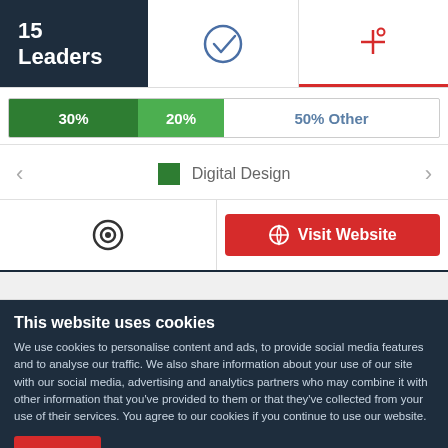15 Leaders
[Figure (infographic): UI with stacked bar chart showing 30% (dark green), 20% (light green), 50% Other. Navigation arrows with Digital Design category label. Visit Website button. Checkmark and filter icons in header tabs.]
This website uses cookies
We use cookies to personalise content and ads, to provide social media features and to analyse our traffic. We also share information about your use of our site with our social media, advertising and analytics partners who may combine it with other information that you've provided to them or that they've collected from your use of their services. You agree to our cookies if you continue to use our website.
Close
Show details